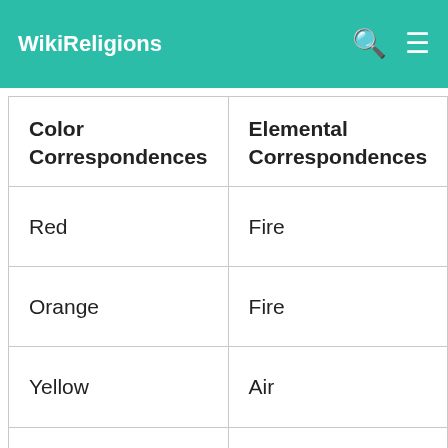WikiReligions
| Color Correspondences | Elemental Correspondences |
| --- | --- |
| Red | Fire |
| Orange | Fire |
| Yellow | Air |
| Gold | Fire |
|  |  |